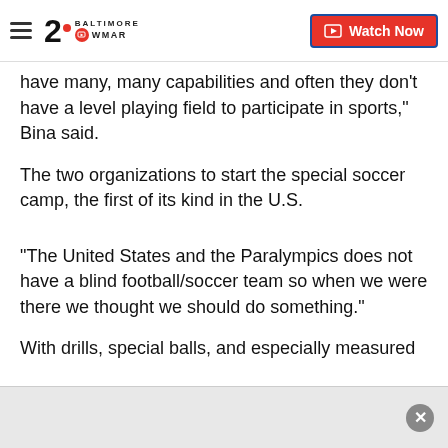WMAR 2 Baltimore | Watch Now
have many, many capabilities and often they don't have a level playing field to participate in sports," Bina said.
The two organizations to start the special soccer camp, the first of its kind in the U.S.
"The United States and the Paralympics does not have a blind football/soccer team so when we were there we thought we should do something."
With drills, special balls, and especially measured